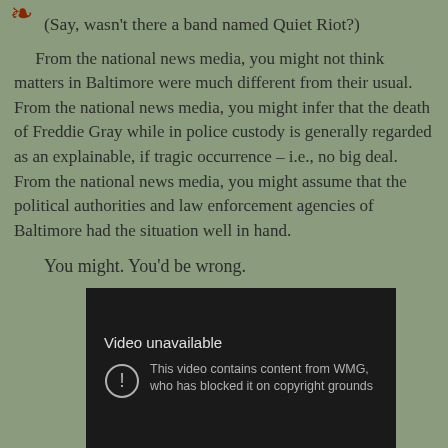(Say, wasn't there a band named Quiet Riot?)
From the national news media, you might not think matters in Baltimore were much different from their usual. From the national news media, you might infer that the death of Freddie Gray while in police custody is generally regarded as an explainable, if tragic occurrence – i.e., no big deal. From the national news media, you might assume that the political authorities and law enforcement agencies of Baltimore had the situation well in hand.
You might. You'd be wrong.
[Figure (screenshot): YouTube video unavailable screenshot with dark background. Shows 'Video unavailable' title and message 'This video contains content from WMG, who has blocked it on copyright grounds' with a warning circle icon.]